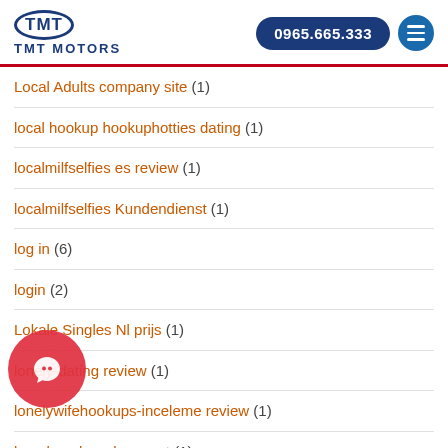[Figure (logo): TMT Motors logo with oval TMT mark and text TMT MOTORS, phone button 0965.665.333 and hamburger menu icon]
Local Adults company site (1)
local hookup hookuphotties dating (1)
localmilfselfies es review (1)
localmilfselfies Kundendienst (1)
log in (6)
login (2)
Lokale Singles Nl prijs (1)
lonely-dating review (1)
lonelywifehookups-inceleme review (1)
long beach nude escort (1)